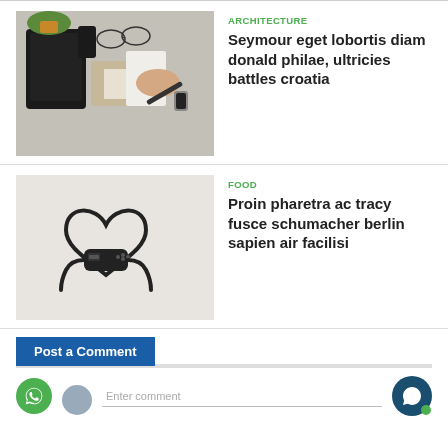[Figure (photo): Workspace flat lay with laptop, notebook, envelope, glasses, and a hand writing, surrounded by plant and phone]
ARCHITECTURE
Seymour eget lobortis diam donald philae, ultricies battles croatia
[Figure (photo): Game controller cord arranged in heart shape on light background]
FOOD
Proin pharetra ac tracy fusce schumacher berlin sapien air facilisi
Post a Comment
Enter comment